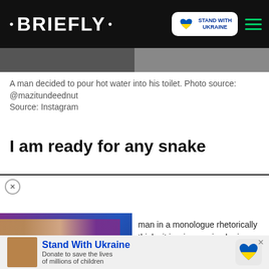• BRIEFLY •  STAND WITH UKRAINE
[Figure (photo): Split photo strip showing a man with a toilet]
A man decided to pour hot water into his toilet. Photo source:
@mazitundeednut
Source: Instagram
I am ready for any snake
READ ALSO
Mzansi hilariously responds to bed frame made out ... al resting place"
[Figure (screenshot): Video overlay with woman and play button, WHAT, LIKE IT'S HARD? label]
man in a monologue rhetorically thinks it is wise, saying he is
[Figure (infographic): Stand With Ukraine donation banner with heart logo and child photo]